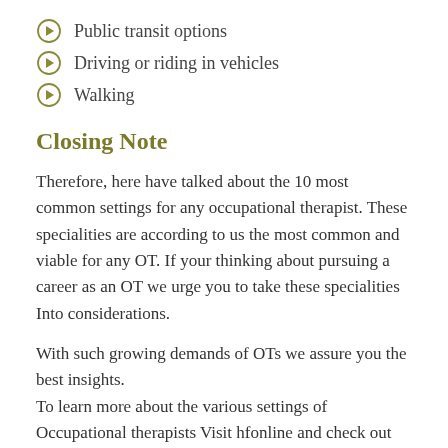Public transit options
Driving or riding in vehicles
Walking
Closing Note
Therefore, here have talked about the 10 most common settings for any occupational therapist. These specialities are according to us the most common and viable for any OT. If your thinking about pursuing a career as an OT we urge you to take these specialities Into considerations.
With such growing demands of OTs we assure you the best insights.
To learn more about the various settings of Occupational therapists Visit hfonline and check out their course “Diploma In